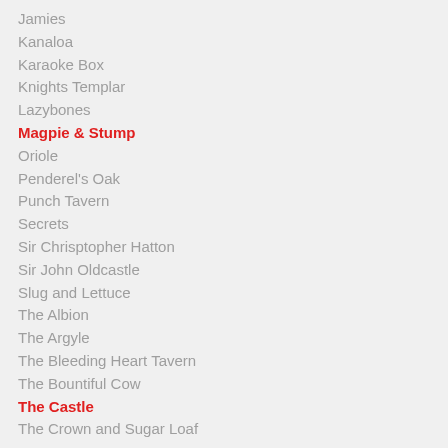Jamies
Kanaloa
Karaoke Box
Knights Templar
Lazybones
Magpie & Stump
Oriole
Penderel's Oak
Punch Tavern
Secrets
Sir Chrisptopher Hatton
Sir John Oldcastle
Slug and Lettuce
The Albion
The Argyle
The Bleeding Heart Tavern
The Bountiful Cow
The Castle
The Crown and Sugar Loaf